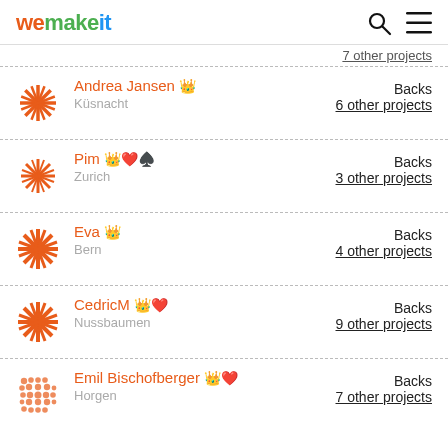wemakeit
7 other projects
Andrea Jansen 👑 — Küsnacht — Backs 6 other projects
Pim 👑 ❤ ♠ — Zurich — Backs 3 other projects
Eva 👑 — Bern — Backs 4 other projects
CedricM 👑 ❤ — Nussbaumen — Backs 9 other projects
Emil Bischofberger 👑 ❤ — Horgen — Backs 7 other projects